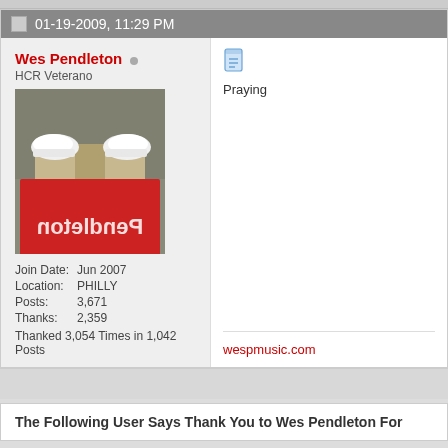01-19-2009, 11:29 PM
Wes Pendleton
HCR Veterano
[Figure (photo): Avatar photo showing person from above, wearing red shirt with white text (reversed), khaki pants, and white sneakers, standing on pavement]
Join Date: Jun 2007
Location: PHILLY
Posts: 3,671
Thanks: 2,359
Thanked 3,054 Times in 1,042 Posts
[Figure (other): Document/notepad icon in blue]
Praying
wespmusic.com
The Following User Says Thank You to Wes Pendleton For